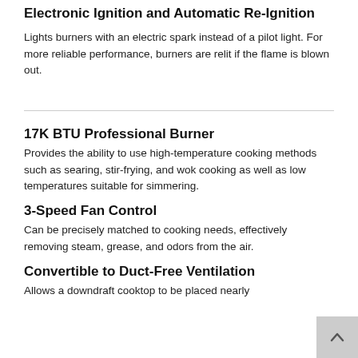Electronic Ignition and Automatic Re-Ignition
Lights burners with an electric spark instead of a pilot light. For more reliable performance, burners are relit if the flame is blown out.
17K BTU Professional Burner
Provides the ability to use high-temperature cooking methods such as searing, stir-frying, and wok cooking as well as low temperatures suitable for simmering.
3-Speed Fan Control
Can be precisely matched to cooking needs, effectively removing steam, grease, and odors from the air.
Convertible to Duct-Free Ventilation
Allows a downdraft cooktop to be placed nearly